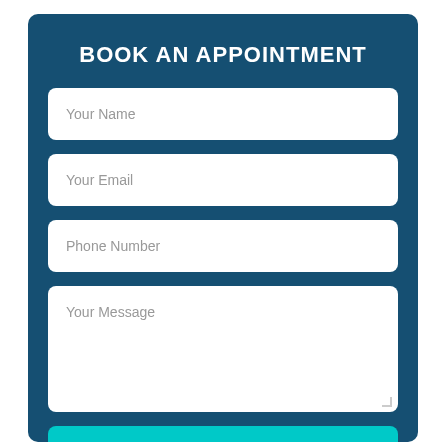BOOK AN APPOINTMENT
Your Name
Your Email
Phone Number
Your Message